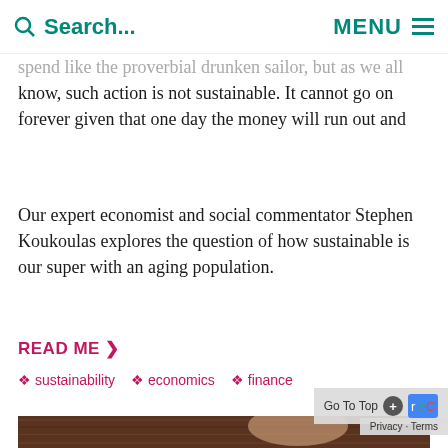Search...  MENU
spend like the proverbial drunken sailor, but as we all know, such action is not sustainable. It cannot go on forever given that one day the money will run out and the debt will have to be repaid.
Our expert economist and social commentator Stephen Koukoulas explores the question of how sustainable is our super with an aging population.
READ ME ❯
sustainability  economics  finance
[Figure (photo): Headshot of a bald man with glasses, smiling, wearing a suit, photographed in front of a wooden background]